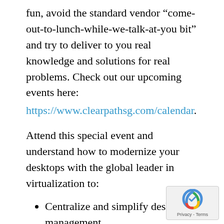fun, avoid the standard vendor “come-out-to-lunch-while-we-talk-at-you bit” and try to deliver to you real knowledge and solutions for real problems. Check out our upcoming events here:
https://www.clearpathsg.com/calendar.
Attend this special event and understand how to modernize your desktops with the global leader in virtualization to:
Centralize and simplify desktop management
Increase security and simplify compliance requirements
Enable end-user mobility and enhance